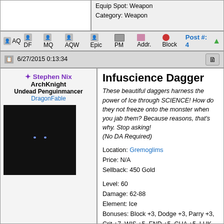Equip Spot: Weapon
Category: Weapon
AQ DF MQ AQW Epic PM Addr. Block Post #: 4
6/27/2015 0:13:34
Infuscience Dagger
Stephen Nix
ArchKnight
Undead Penguinmancer DragonFable
These beautiful daggers harness the power of Ice through SCIENCE! How do they not freeze onto the monster when you jab them? Because reasons, that's why. Stop asking! (No DA Required)
Location: Gremoglims
Price: N/A
Sellback: 450 Gold

Level: 60
Damage: 62-88
Element: Ice
Bonuses: Block +3, Dodge +3, Parry +3, Crit +7, WIS +5, END +5, CHA +5, LUK +5, DEX +8, Bonus +6
Resists: Health -2, Energy +5, Fire +5

Rarity: 25
Item Type: Dagger
Damage Type: Pierce
Equip Spot: Weapon
Category: Weapon